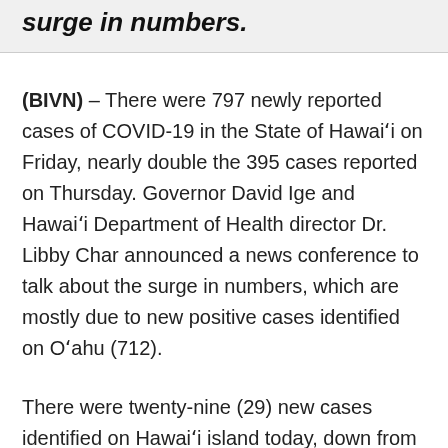surge in numbers.
(BIVN) – There were 797 newly reported cases of COVID-19 in the State of Hawaiʻi on Friday, nearly double the 395 cases reported on Thursday. Governor David Ige and Hawaiʻi Department of Health director Dr. Libby Char announced a news conference to talk about the surge in numbers, which are mostly due to new positive cases identified on Oʻahu (712).
There were twenty-nine (29) new cases identified on Hawaiʻi island today, down from the fifty-five (55) cases reported the day before. The health